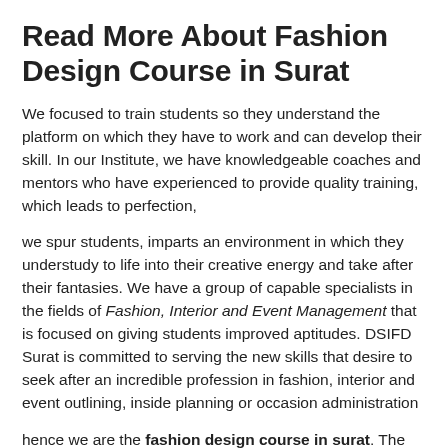Read More About Fashion Design Course in Surat
We focused to train students so they understand the platform on which they have to work and can develop their skill. In our Institute, we have knowledgeable coaches and mentors who have experienced to provide quality training, which leads to perfection,
we spur students, imparts an environment in which they understudy to life into their creative energy and take after their fantasies. We have a group of capable specialists in the fields of Fashion, Interior and Event Management that is focused on giving students improved aptitudes. DSIFD Surat is committed to serving the new skills that desire to seek after an incredible profession in fashion, interior and event outlining, inside planning or occasion administration
hence we are the fashion design course in surat. The